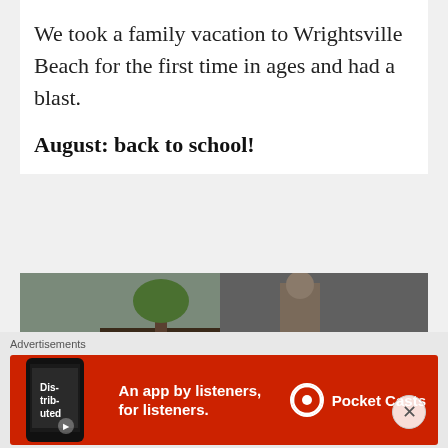We took a family vacation to Wrightsville Beach for the first time in ages and had a blast.
August: back to school!
[Figure (photo): Outdoor photo showing back of a child with long brown hair and a large bright pink bow, standing near a tree, mulched garden bed, and a concrete walkway. An adult figure is partially visible in the background.]
Advertisements
[Figure (infographic): Red advertisement banner for Pocket Casts app reading 'An app by listeners, for listeners.' with a phone image showing the word 'Distributed' and the Pocket Casts logo on the right.]